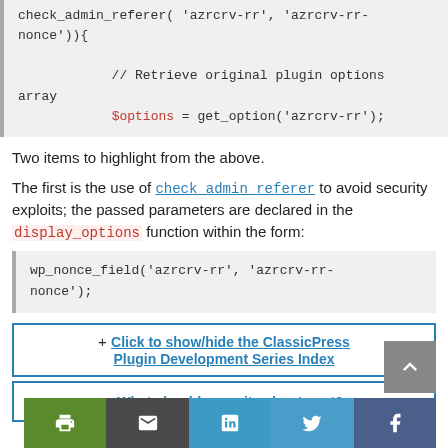check_admin_referer( 'azrcrv-rr', 'azrcrv-rr-nonce')){

            // Retrieve original plugin options array
            $options = get_option('azrcrv-rr');
Two items to highlight from the above.
The first is the use of check_admin_referer to avoid security exploits; the passed parameters are declared in the display_options function within the form:
wp_nonce_field('azrcrv-rr', 'azrcrv-rr-nonce');
+ Click to show/hide the ClassicPress Plugin Development Series Index
+ What should we write about next?